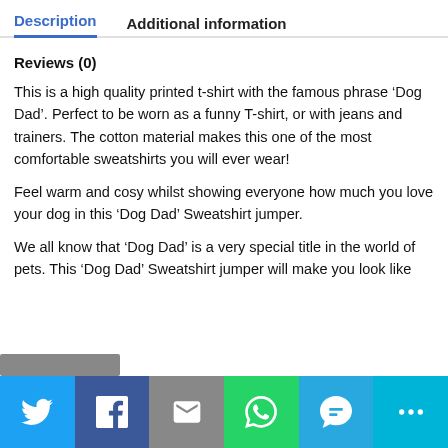Description | Additional information
Reviews (0)
This is a high quality printed t-shirt with the famous phrase ‘Dog Dad’. Perfect to be worn as a funny T-shirt, or with jeans and trainers. The cotton material makes this one of the most comfortable sweatshirts you will ever wear!
Feel warm and cosy whilst showing everyone how much you love your dog in this ‘Dog Dad’ Sweatshirt jumper.
We all know that ‘Dog Dad’ is a very special title in the world of pets. This ‘Dog Dad’ Sweatshirt jumper will make you look like